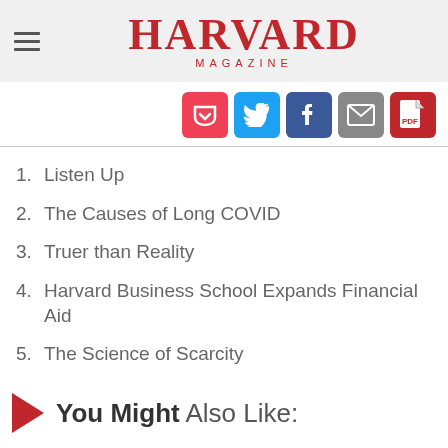HARVARD MAGAZINE
[Figure (infographic): Social share buttons: Pocket, Twitter, Facebook, Email, PDF]
1. Listen Up
2. The Causes of Long COVID
3. Truer than Reality
4. Harvard Business School Expands Financial Aid
5. The Science of Scarcity
You Might Also Like: